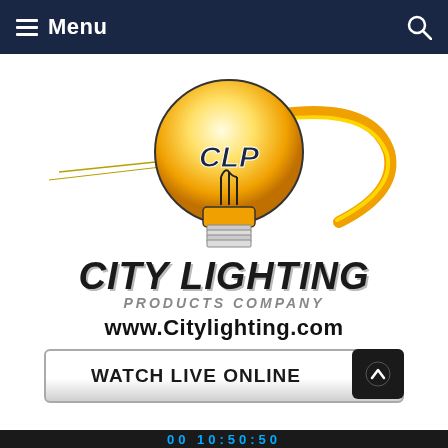Menu
[Figure (logo): City Lighting Products Company logo: a light bulb with CLP text inside, yellow-orange gradient coloring, with a swoosh arc, and text CITY LIGHTING PRODUCTS COMPANY www.Citylighting.com below]
WATCH LIVE ONLINE